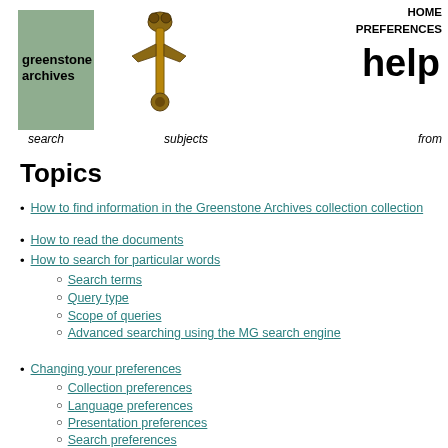HOME PREFERENCES
help
[Figure (photo): Photo of a rusty/antique tool or key-like object, positioned above a green rectangle. Text 'greenstone archives' appears over the green box.]
search   subjects   from
Topics
How to find information in the Greenstone Archives collection collection
How to read the documents
How to search for particular words
Search terms
Query type
Scope of queries
Advanced searching using the MG search engine
Changing your preferences
Collection preferences
Language preferences
Presentation preferences
Search preferences